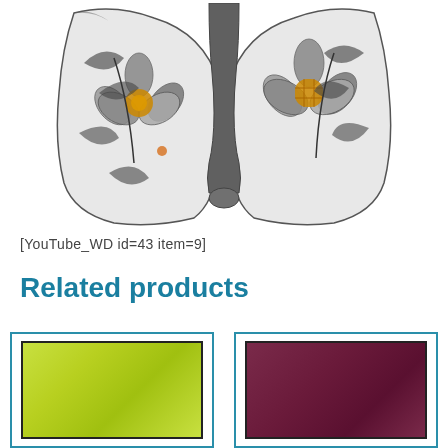[Figure (photo): A decorative ceramic or glass vase/bowl with floral pattern in black and grey with orange/yellow flower centers, viewed from above showing a U-shaped opening]
[YouTube_WD id=43 item=9]
Related products
[Figure (photo): Product card with lime/yellow-green glossy ceramic tile swatch, bordered with teal outline]
[Figure (photo): Product card with dark purple/maroon matte ceramic tile swatch, bordered with teal outline]